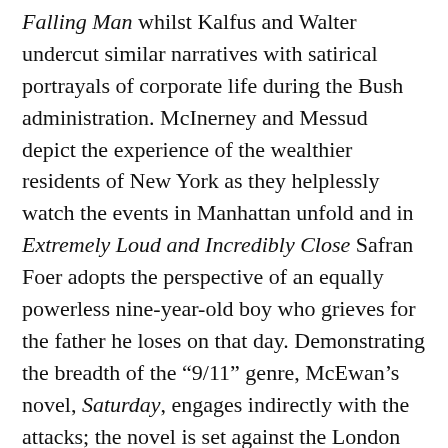Falling Man whilst Kalfus and Walter undercut similar narratives with satirical portrayals of corporate life during the Bush administration. McInerney and Messud depict the experience of the wealthier residents of New York as they helplessly watch the events in Manhattan unfold and in Extremely Loud and Incredibly Close Safran Foer adopts the perspective of an equally powerless nine-year-old boy who grieves for the father he loses on that day. Demonstrating the breadth of the “9/11” genre, McEwan’s novel, Saturday, engages indirectly with the attacks; the novel is set against the London demonstrations that preceded American and British intervention in Iraq and describes “9/11” in brief, as an “induction into international affairs” (McEwan 2005, 31) for the Western world. Uniquely, amongst these examples, Updike’s Terrorist chronicles the thoughts of an American-born Muslim who attempts to blow up the Lincoln Tunnel between New Jersey and New York City and Hamid, with considerably more nuance than Updike, explores the motivations of a Pakistani-born American resident who comes to embrace a militant version of Islam after becoming exiled from the “growing and self-